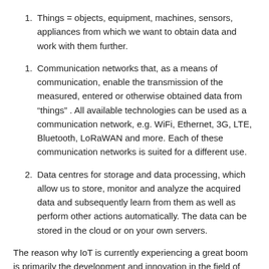Things = objects, equipment, machines, sensors, appliances from which we want to obtain data and work with them further.
Communication networks that, as a means of communication, enable the transmission of the measured, entered or otherwise obtained data from “things” . All available technologies can be used as a communication network, e.g. WiFi, Ethernet, 3G, LTE, Bluetooth, LoRaWAN and more. Each of these communication networks is suited for a different use.
Data centres for storage and data processing, which allow us to store, monitor and analyze the acquired data and subsequently learn from them as well as perform other actions automatically. The data can be stored in the cloud or on your own servers.
The reason why IoT is currently experiencing a great boom is primarily the development and innovation in the field of wireless and mobile networks. The latest wireless networks